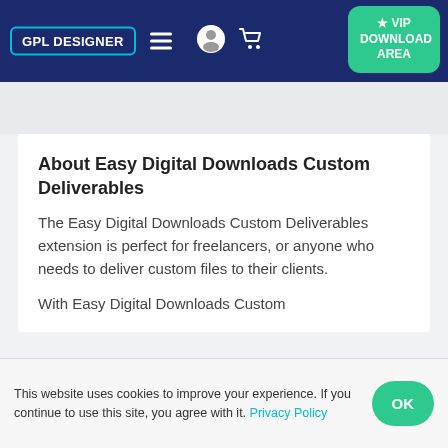GPL DESIGNER [nav bar with hamburger, user icon, cart icon, VIP DOWNLOAD AREA button]
Deliverables
About Easy Digital Downloads Custom Deliverables
The Easy Digital Downloads Custom Deliverables extension is perfect for freelancers, or anyone who needs to deliver custom files to their clients.
With Easy Digital Downloads Custom
This website uses cookies to improve your experience. If you continue to use this site, you agree with it. Privacy Policy